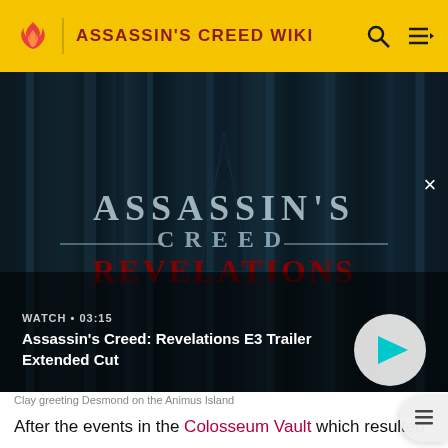ASSASSIN'S CREED WIKI
[Figure (screenshot): Assassin's Creed Revelations video thumbnail showing the game logo with dark teal streaked background. Overlay text: WATCH • 03:15, title: Assassin's Creed: Revelations E3 Trailer Extended Cut, with play button.]
Clay greeting Desmond on the Animus Island
After the events in the Colosseum Vault which resulted Lucy Stillman's death, Desmond Miles entered a comatose state and awoke in the Animus' Black Room, following being placed back in the machine by his father